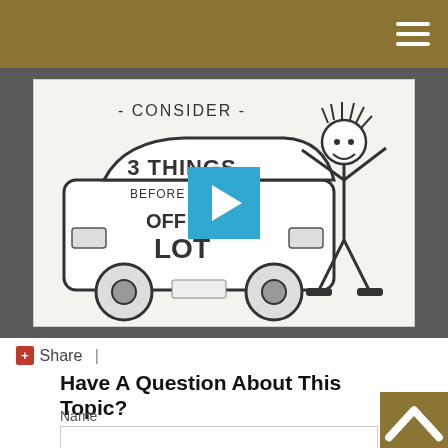[Figure (screenshot): A sketch/illustration video thumbnail showing a car with text '3 THINGS BEFORE DRIVING OFF THE LOT' and a waving stick figure, with text '- CONSIDER -' at the top. A play button overlay is shown in the center.]
Share |
Have A Question About This Topic?
Name